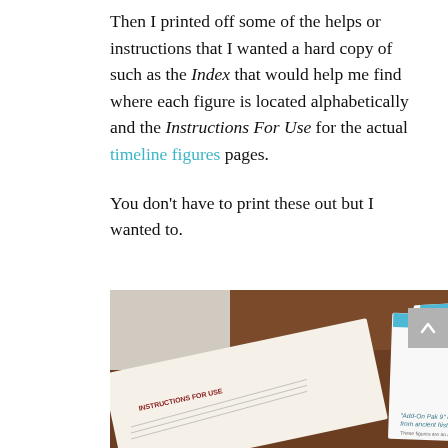Then I printed off some of the helps or instructions that I wanted a hard copy of such as the Index that would help me find where each figure is located alphabetically and the Instructions For Use for the actual timeline figures pages.

You don't have to print these out but I wanted to.
[Figure (photo): A photograph of printed documents on a wooden table, including a page labeled 'INSTRUCTIONS FOR USE', an index page labeled 'INDEX', and a page showing an 'Add-On Pak 9' document with timeline figures information and a decorative image.]